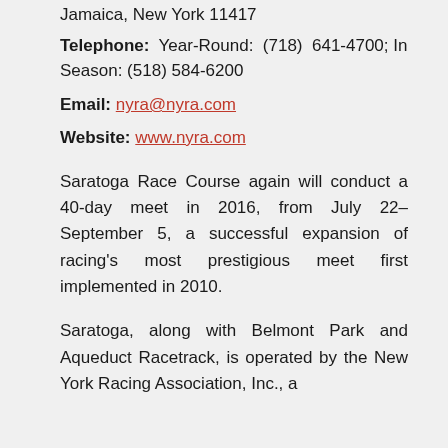Jamaica, New York 11417
Telephone: Year-Round: (718) 641-4700; In Season: (518) 584-6200
Email: nyra@nyra.com
Website: www.nyra.com
Saratoga Race Course again will conduct a 40-day meet in 2016, from July 22–September 5, a successful expansion of racing's most prestigious meet first implemented in 2010.
Saratoga, along with Belmont Park and Aqueduct Racetrack, is operated by the New York Racing Association, Inc., a